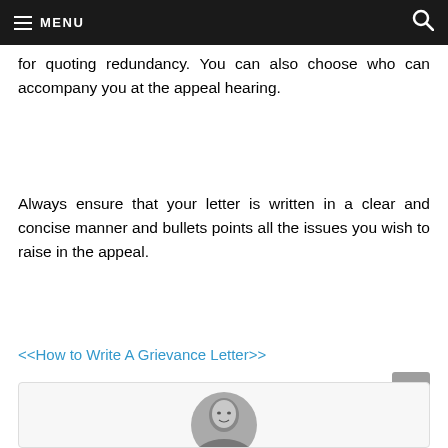≡ MENU
for quoting redundancy. You can also choose who can accompany you at the appeal hearing.
Always ensure that your letter is written in a clear and concise manner and bullets points all the issues you wish to raise in the appeal.
<<How to Write A Grievance Letter>>
[Figure (photo): Circular portrait photo of a bald man, black and white, partially visible at the bottom of the page inside a light grey box.]